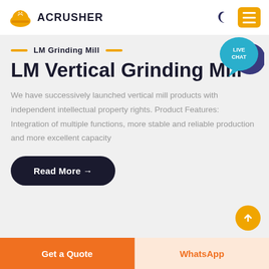ACRUSHER
LM Grinding Mill
LM Vertical Grinding Mill
We have successively launched vertical mill products with independent intellectual property rights. Product Features: Integration of multiple functions, more stable and reliable production and more excellent capacity
Read More →
Get a Quote
WhatsApp